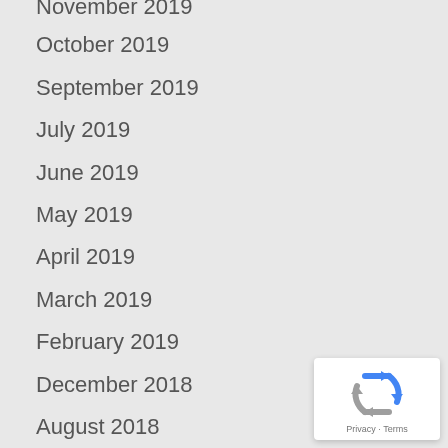November 2019
October 2019
September 2019
July 2019
June 2019
May 2019
April 2019
March 2019
February 2019
December 2018
August 2018
March 2018
September 2017
August 2017
July 2017